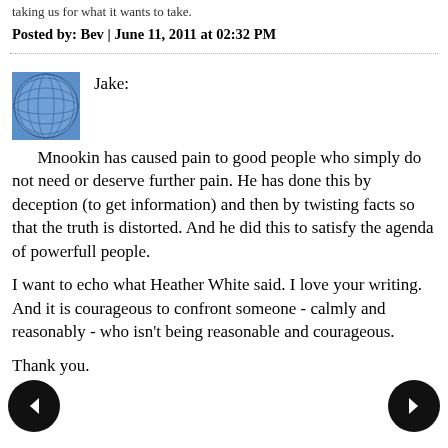taking us for what it wants to take.
Posted by: Bev | June 11, 2011 at 02:32 PM
[Figure (illustration): Blue globe/sphere avatar icon for commenter Jake]
Jake:
Mnookin has caused pain to good people who simply do not need or deserve further pain. He has done this by deception (to get information) and then by twisting facts so that the truth is distorted. And he did this to satisfy the agenda of powerfull people.

I want to echo what Heather White said. I love your writing. And it is courageous to confront someone - calmly and reasonably - who isn't being reasonable and courageous.

Thank you.